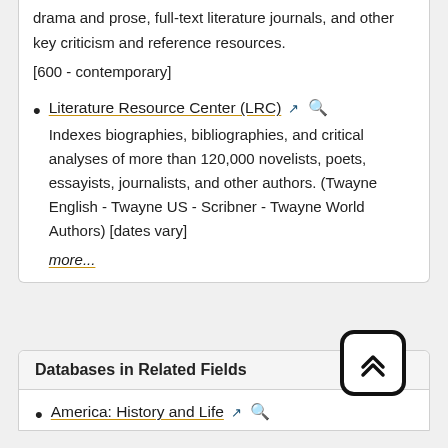drama and prose, full-text literature journals, and other key criticism and reference resources. [600 - contemporary]
Literature Resource Center (LRC) — Indexes biographies, bibliographies, and critical analyses of more than 120,000 novelists, poets, essayists, journalists, and other authors. (Twayne English - Twayne US - Scribner - Twayne World Authors) [dates vary] more...
Databases in Related Fields
America: History and Life